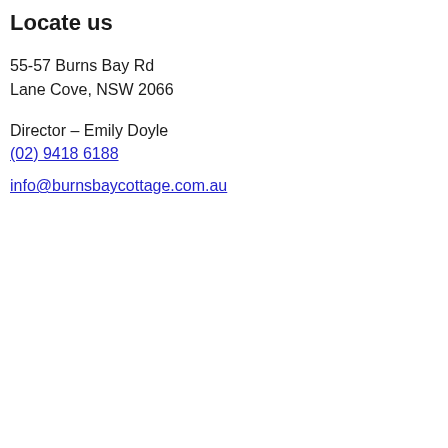Locate us
55-57 Burns Bay Rd
Lane Cove, NSW 2066
Director – Emily Doyle
(02) 9418 6188
info@burnsbaycottage.com.au